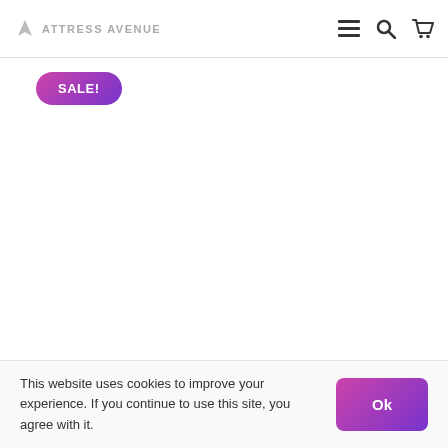ATTRESS AVENUE — navigation header with menu, search, and cart icons
SALE!
This website uses cookies to improve your experience. If you continue to use this site, you agree with it.